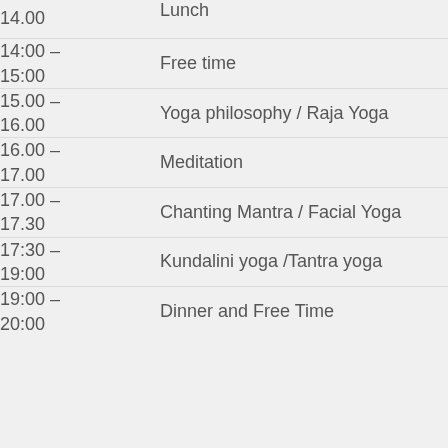| Time | Activity |
| --- | --- |
| 14.00 | Lunch |
| 14:00 – 15:00 | Free time |
| 15.00 – 16.00 | Yoga philosophy / Raja Yoga |
| 16.00 – 17.00 | Meditation |
| 17.00 – 17.30 | Chanting Mantra / Facial Yoga |
| 17:30 – 19:00 | Kundalini yoga /Tantra yoga |
| 19:00 – 20:00 | Dinner and Free Time |